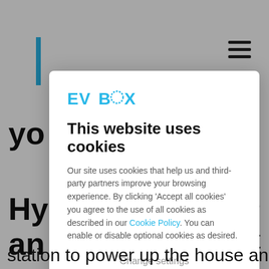[Figure (screenshot): EVBox website screenshot with cookie consent modal overlay. Background shows partial page text and navigation. Foreground modal contains EVBox logo, cookie consent title, body text, 'Change settings' link, and 'Accept all cookies' button.]
This website uses cookies
Our site uses cookies that help us and third-party partners improve your browsing experience. By clicking 'Accept all cookies' you agree to the use of all cookies as described in our Cookie Policy. You can enable or disable optional cookies as desired.
Change settings
Accept all cookies
station to power up the house and store